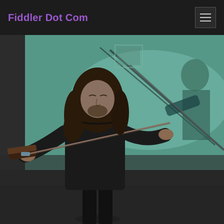Fiddler Dot Com
[Figure (photo): A man with long curly hair wearing a black shirt playing a violin/fiddle in the foreground, with a large projection screen behind him showing a black and white or teal-tinted vintage image of another fiddle player.]